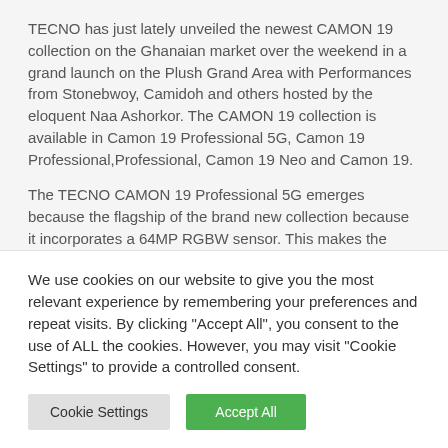TECNO has just lately unveiled the newest CAMON 19 collection on the Ghanaian market over the weekend in a grand launch on the Plush Grand Area with Performances from Stonebwoy, Camidoh and others hosted by the eloquent Naa Ashorkor. The CAMON 19 collection is available in Camon 19 Professional 5G, Camon 19 Professional,Professional, Camon 19 Neo and Camon 19.
The TECNO CAMON 19 Professional 5G emerges because the flagship of the brand new collection because it incorporates a 64MP RGBW sensor. This makes the
We use cookies on our website to give you the most relevant experience by remembering your preferences and repeat visits. By clicking "Accept All", you consent to the use of ALL the cookies. However, you may visit "Cookie Settings" to provide a controlled consent.
Cookie Settings | Accept All